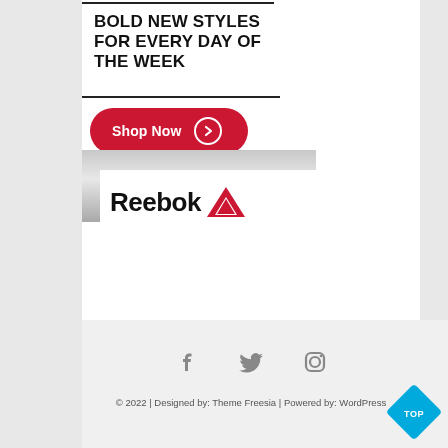BOLD NEW STYLES FOR EVERY DAY OF THE WEEK
[Figure (logo): Red 'Shop Now' button with right-arrow circle icon]
[Figure (logo): Reebok logo with brand name in black bold text and red delta triangle icon, on white background over silver gradient]
[Figure (logo): Social media icons: Facebook, Twitter, Instagram in gray]
© 2022 | Designed by: Theme Freesia | Powered by: WordPress